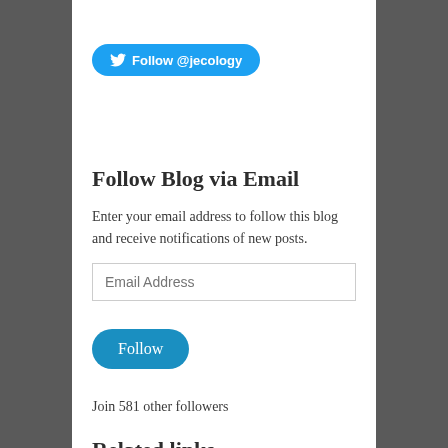[Figure (other): Twitter follow button with bird icon and text 'Follow @jecology' on a blue rounded rectangle]
Follow Blog via Email
Enter your email address to follow this blog and receive notifications of new posts.
Email Address (input field placeholder)
[Figure (other): Blue rounded 'Follow' button]
Join 581 other followers
Related links